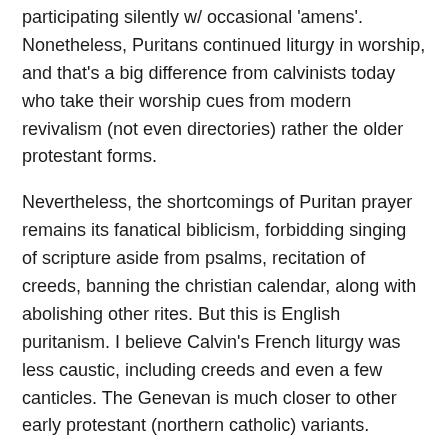participating silently w/ occasional 'amens'. Nonetheless, Puritans continued liturgy in worship, and that's a big difference from calvinists today who take their worship cues from modern revivalism (not even directories) rather the older protestant forms.
Nevertheless, the shortcomings of Puritan prayer remains its fanatical biblicism, forbidding singing of scripture aside from psalms, recitation of creeds, banning the christian calendar, along with abolishing other rites. But this is English puritanism. I believe Calvin's French liturgy was less caustic, including creeds and even a few canticles. The Genevan is much closer to other early protestant (northern catholic) variants.